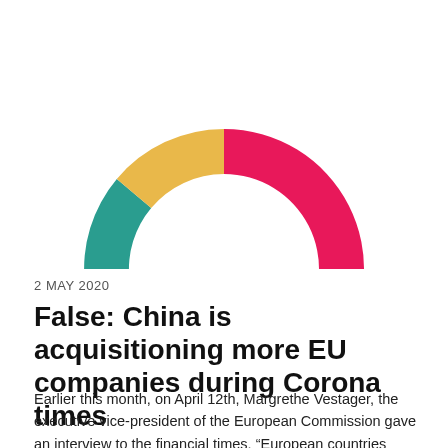[Figure (donut-chart): FALSE rating indicator]
2 MAY 2020
False: China is acquisitioning more EU companies during Corona times
Earlier this month, on April 12th, Margrethe Vestager, the executive vice-president of the European Commission gave an interview to the financial times, “European countries should buy stakes in companies to stave off the threat of Chinese takeovers, the EU competition chief has said, as Brussels steps up plans to protect businesses fighting for survival during the Covid-19